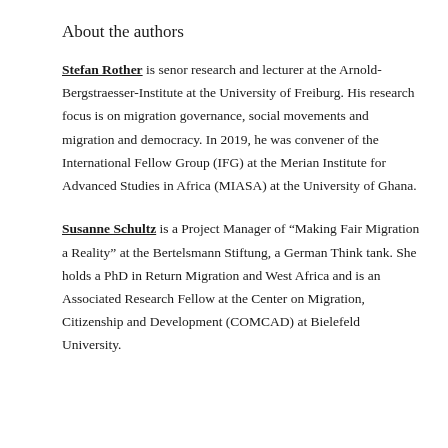About the authors
Stefan Rother is senor research and lecturer at the Arnold-Bergstraesser-Institute at the University of Freiburg. His research focus is on migration governance, social movements and migration and democracy. In 2019, he was convener of the International Fellow Group (IFG) at the Merian Institute for Advanced Studies in Africa (MIASA) at the University of Ghana.
Susanne Schultz is a Project Manager of “Making Fair Migration a Reality” at the Bertelsmann Stiftung, a German Think tank. She holds a PhD in Return Migration and West Africa and is an Associated Research Fellow at the Center on Migration, Citizenship and Development (COMCAD) at Bielefeld University.